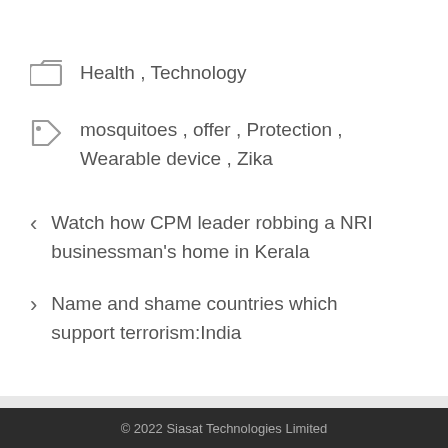Health , Technology
mosquitoes , offer , Protection , Wearable device , Zika
< Watch how CPM leader robbing a NRI businessman's home in Kerala
> Name and shame countries which support terrorism:India
© 2022 Siasat Technologies Limited